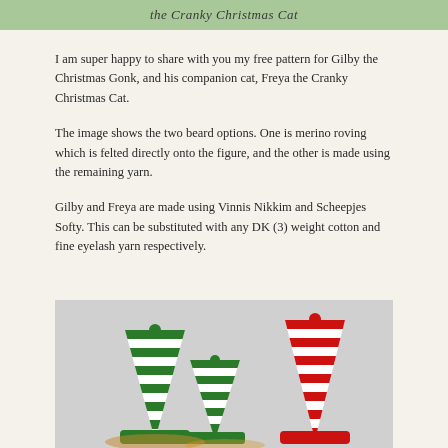the Cranky Christmas Cat
I am super happy to share with you my free pattern for Gilby the Christmas Gonk, and his companion cat, Freya the Cranky Christmas Cat.
The image shows the two beard options. One is merino roving which is felted directly onto the figure, and the other is made using the remaining yarn.
Gilby and Freya are made using Vinnis Nikkim and Scheepjes Softy. This can be substituted with any DK (3) weight cotton and fine eyelash yarn respectively.
[Figure (photo): Crocheted Christmas gonk hats in green and white stripes and red and white stripes, arranged together on a light grey background]